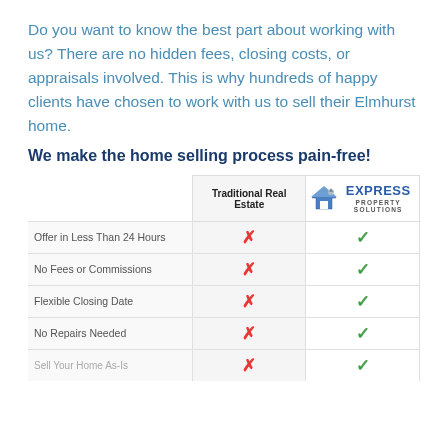Do you want to know the best part about working with us? There are no hidden fees, closing costs, or appraisals involved. This is why hundreds of happy clients have chosen to work with us to sell their Elmhurst home.
We make the home selling process pain-free!
|  | Traditional Real Estate | Express Property Solutions |
| --- | --- | --- |
| Offer in Less Than 24 Hours | ✗ | ✓ |
| No Fees or Commissions | ✗ | ✓ |
| Flexible Closing Date | ✗ | ✓ |
| No Repairs Needed | ✗ | ✓ |
| Sell Your Home As-Is | ✗ | ✓ |